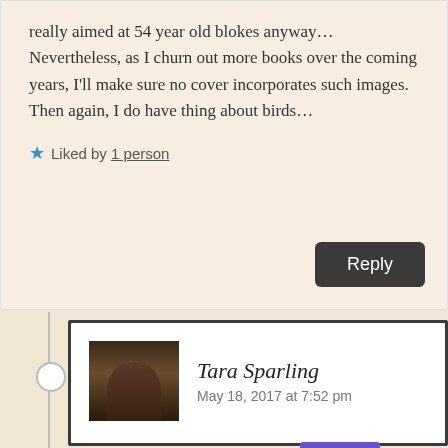really aimed at 54 year old blokes anyway… Nevertheless, as I churn out more books over the coming years, I'll make sure no cover incorporates such images. Then again, I do have thing about birds…
★ Liked by 1 person
Reply
[Figure (photo): Avatar photo of Tara Sparling showing a woman with dark hair in front of bookshelves]
Tara Sparling
May 18, 2017 at 7:52 pm
Privacy & Cookies: This site uses cookies. By continuing to use this website, you agree to their use.
To find out more, including how to control cookies, see here: Cookie Policy
Close and accept